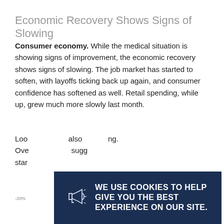Economic Recovery Shows Signs of Slowing
Consumer economy. While the medical situation is showing signs of improvement, the economic recovery shows signs of slowing. The job market has started to soften, with layoffs ticking back up again, and consumer confidence has softened as well. Retail spending, while up, grew much more slowly last month.
Loo[king ahead...] also [...] ing. Ove[rall...] sugg[est...] star[t...]
[Figure (continuous-plot): Line chart showing economic data, teal colored line, with -20% label on y-axis]
[Figure (screenshot): Cookie consent modal overlay on dark navy background. Contains megaphone icon, heading 'WE USE COOKIES TO HELP GIVE YOU THE BEST EXPERIENCE ON OUR SITE.', subtext 'If you’re okay with that, keep browsing.' and 'Read our cookie policy here.' with a close (X) button in lower right.]